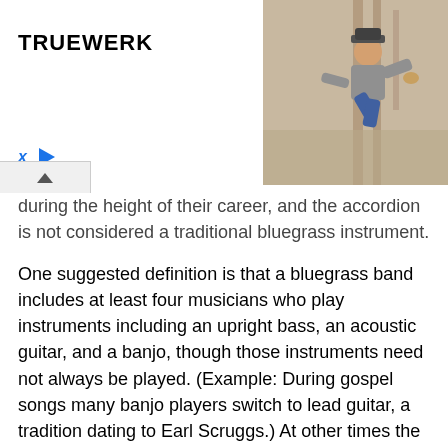[Figure (advertisement): TRUEWERK advertisement banner with logo text and a photo of a person crouching outdoors, with ad controls (X close button, play button triangle) and a collapse chevron button]
during the height of their career, and the accordion is not considered a traditional bluegrass instrument.
One suggested definition is that a bluegrass band includes at least four musicians who play instruments including an upright bass, an acoustic guitar, and a banjo, though those instruments need not always be played. (Example: During gospel songs many banjo players switch to lead guitar, a tradition dating to Earl Scruggs.) At other times the musicians may play no instruments and sing four part harmony. Other common instruments include the fiddle, the mandolin, and the resonator guitar. Bluegrass bands have included instruments as diverse as drums, electric guitar and electric versions of all other common bluegrass instruments, accordion, harmonica, mouth harp, and piano, though these are not widely accepted within the bluegrass community. Instrumental solos are